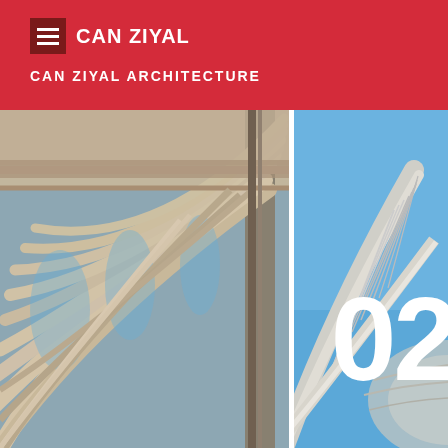CAN ZIYAL
CAN ZIYAL ARCHITECTURE
[Figure (photo): Close-up photograph of white ribbed architectural arches/canopy structure against blue sky, warm-toned concrete ribs fanning outward]
[Figure (photo): Photograph of a modern bridge or dome structure with cable stays against a clear blue sky, with large white number 02 overlaid]
02